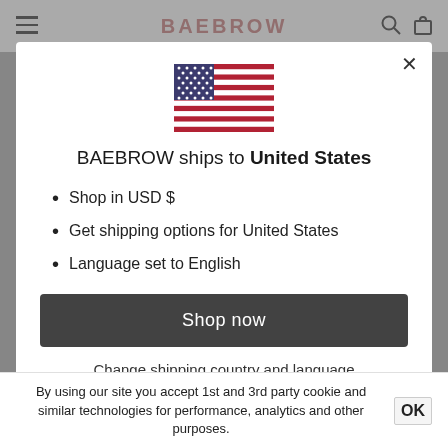BAEBROW
[Figure (illustration): US flag inline SVG]
BAEBROW ships to United States
Shop in USD $
Get shipping options for United States
Language set to English
Shop now
Change shipping country and language
By using our site you accept 1st and 3rd party cookie and similar technologies for performance, analytics and other purposes.